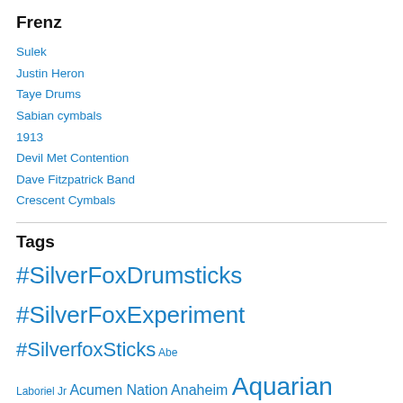Frenz
Sulek
Justin Heron
Taye Drums
Sabian cymbals
1913
Devil Met Contention
Dave Fitzpatrick Band
Crescent Cymbals
Tags
#SilverFoxDrumsticks #SilverFoxExperiment #SilverfoxSticks Abe Laboriel Jr Acumen Nation Anaheim Aquarian Bastille Days Big Fat Snare Drum Bosphorus Bottom Lounge build